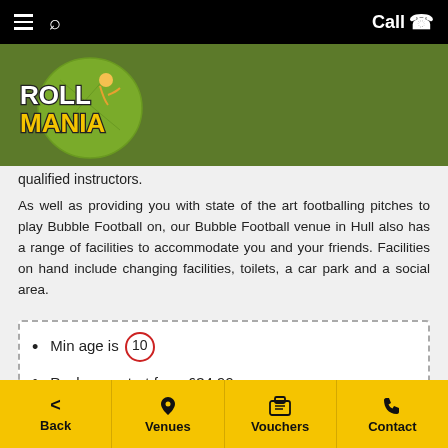Roll Mania — navigation bar with hamburger menu, search, and Call button
[Figure (logo): Roll Mania logo — circular green background with cartoon character and bold text 'ROLL MANIA']
qualified instructors.
As well as providing you with state of the art footballing pitches to play Bubble Football on, our Bubble Football venue in Hull also has a range of facilities to accommodate you and your friends. Facilities on hand include changing facilities, toilets, a car park and a social area.
Min age is 10
Packages start from £34.99
Back | Venues | Vouchers | Contact